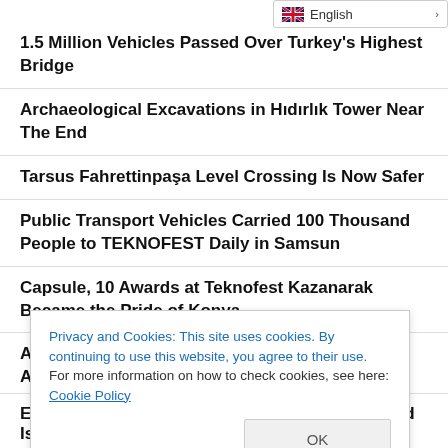1.5 Million Vehicles Passed Over Turkey's Highest Bridge
Archaeological Excavations in Hıdırlık Tower Near The End
Tarsus Fahrettinpaşa Level Crossing Is Now Safer
Public Transport Vehicles Carried 100 Thousand People to TEKNOFEST Daily in Samsun
Capsule, 10 Awards at Teknofest Kazanarak Became the Pride of Konya
A New Integration Training Program Will Be Applied to Students
Primary and Secondary Education Institutions Scholarship
Privacy and Cookies: This site uses cookies. By continuing to use this website, you agree to their use.
For more information on how to check cookies, see here: Cookie Policy
Entrepreneurship Ecosystem Marked WorldFood Istanbul